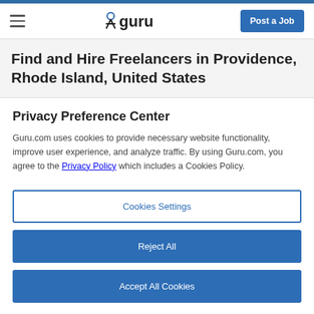guru — Post a Job
Find and Hire Freelancers in Providence, Rhode Island, United States
Privacy Preference Center
Guru.com uses cookies to provide necessary website functionality, improve user experience, and analyze traffic. By using Guru.com, you agree to the Privacy Policy which includes a Cookies Policy.
Cookies Settings
Reject All
Accept All Cookies